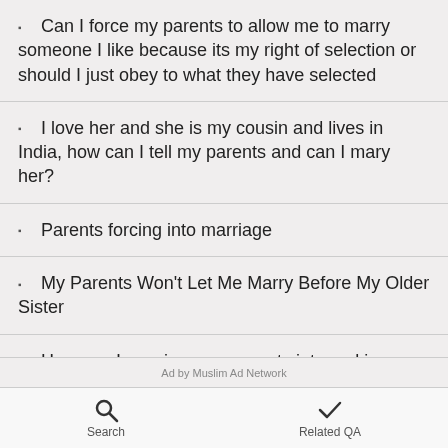Can I force my parents to allow me to marry someone I like because its my right of selection or should I just obey to what they have selected
I love her and she is my cousin and lives in India, how can I tell my parents and can I mary her?
Parents forcing into marriage
My Parents Won't Let Me Marry Before My Older Sister
How can I convince my parents into making me get married to the guy I like?
Ad by Muslim Ad Network
Search   Related QA